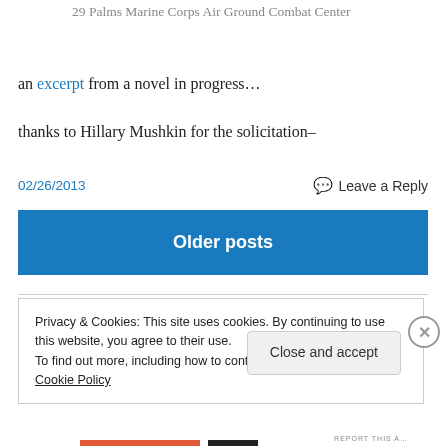29 Palms Marine Corps Air Ground Combat Center
an excerpt from a novel in progress…
thanks to Hillary Mushkin for the solicitation–
02/26/2013
Leave a Reply
Older posts
Privacy & Cookies: This site uses cookies. By continuing to use this website, you agree to their use.
To find out more, including how to control cookies, see here: Cookie Policy
Close and accept